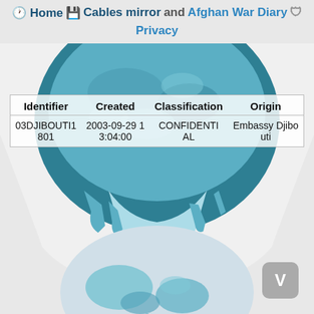Home  Cables mirror and Afghan War Diary  Privacy
[Figure (illustration): WikiLeaks hourglass logo illustration with teal and light blue world map globe shape on a white background, dripping liquid style]
| Identifier | Created | Classification | Origin |
| --- | --- | --- | --- |
| 03DJIBOUTI1801 | 2003-09-29 13:04:00 | CONFIDENTIAL | Embassy Djibouti |